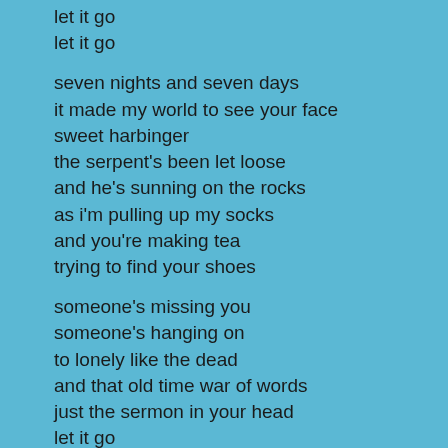let it go
let it go

seven nights and seven days
it made my world to see your face
sweet harbinger
the serpent's been let loose
and he's sunning on the rocks
as i'm pulling up my socks
and you're making tea
trying to find your shoes

someone's missing you
someone's hanging on
to lonely like the dead
and that old time war of words
just the sermon in your head
let it go
let it go
let it go
let it go
let it go
let it go

with the harvest on the vine
some how the sun shows up in time